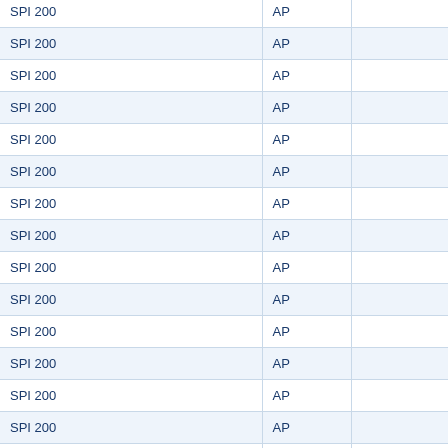| SPI 200 | AP |  |
| SPI 200 | AP |  |
| SPI 200 | AP |  |
| SPI 200 | AP |  |
| SPI 200 | AP |  |
| SPI 200 | AP |  |
| SPI 200 | AP |  |
| SPI 200 | AP |  |
| SPI 200 | AP |  |
| SPI 200 | AP |  |
| SPI 200 | AP |  |
| SPI 200 | AP |  |
| SPI 200 | AP |  |
| SPI 200 | AP |  |
| SPI 200 | AP |  |
| SPI 200 | AP |  |
| SPI 200 | AP |  |
| SPI 200 | AP |  |
| SPI 200 | AP |  |
| SPI 200 | AP |  |